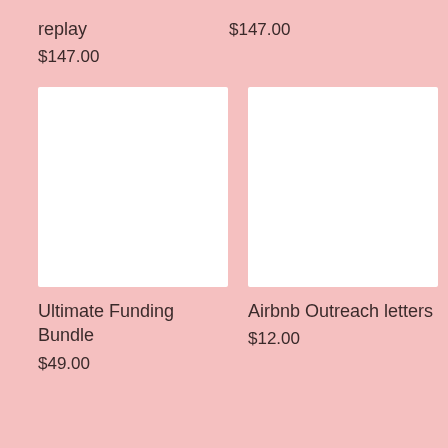replay
$147.00
$147.00
[Figure (other): White blank product image placeholder for Ultimate Funding Bundle]
Ultimate Funding Bundle
$49.00
[Figure (other): White blank product image placeholder for Airbnb Outreach letters]
Airbnb Outreach letters
$12.00